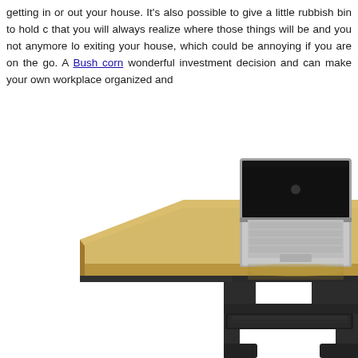getting in or out your house. It's also possible to give a little rubbish bin to hold that you will always realize where those things will be and you not anymore lo exiting your house, which could be annoying if you are on the go. A Bush corn wonderful investment decision and can make your own workplace organized and
[Figure (photo): A corner desk with a golden/wheat-colored surface and dark charcoal/black legs and frame. A silver laptop computer is sitting open on the desk surface. The desk has a keyboard tray underneath and cable management holes visible on the surface.]